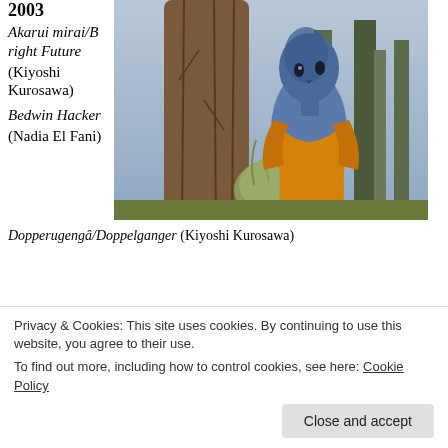2003
Akarui mirai/Bright Future (Kiyoshi Kurosawa)
[Figure (photo): A blue-skinned alien-like figure in an orange robe or jacket, partially hidden behind a tree trunk with grass in the foreground and a forest background.]
Bedwin Hacker (Nadia El Fani)
Dopperugengâ/Doppelganger (Kiyoshi Kurosawa)
Privacy & Cookies: This site uses cookies. By continuing to use this website, you agree to their use.
To find out more, including how to control cookies, see here: Cookie Policy
Close and accept